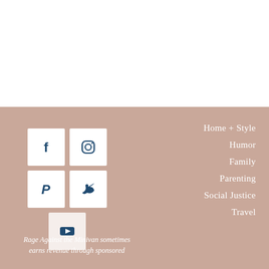[Figure (illustration): White blank area at top of page]
[Figure (infographic): Footer section with pinkish-mauve background containing social media icon buttons (Facebook, Instagram, Pinterest, Twitter, YouTube), navigation links (Home + Style, Humor, Family, Parenting, Social Justice, Travel), and footer text about Rage Against the Minivan]
Rage Against the Minivan sometimes earns revenue through sponsored
Home + Style
Humor
Family
Parenting
Social Justice
Travel